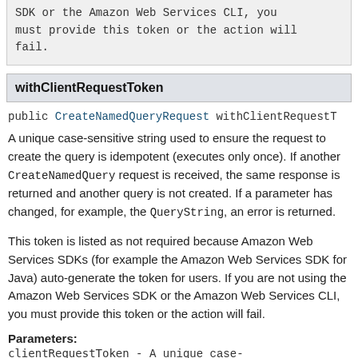SDK or the Amazon Web Services CLI, you must provide this token or the action will fail.
withClientRequestToken
public CreateNamedQueryRequest withClientRequestT
A unique case-sensitive string used to ensure the request to create the query is idempotent (executes only once). If another CreateNamedQuery request is received, the same response is returned and another query is not created. If a parameter has changed, for example, the QueryString, an error is returned.
This token is listed as not required because Amazon Web Services SDKs (for example the Amazon Web Services SDK for Java) auto-generate the token for users. If you are not using the Amazon Web Services SDK or the Amazon Web Services CLI, you must provide this token or the action will fail.
Parameters:
clientRequestToken - A unique case-